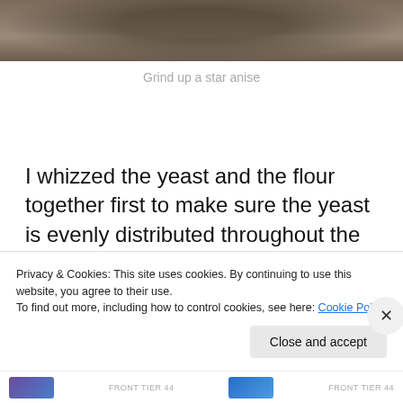[Figure (photo): Partial view of a mortar or grinding bowl with ground star anise, cropped at top of page]
Grind up a star anise
I whizzed the yeast and the flour together first to make sure the yeast is evenly distributed throughout the flour. Then while the food processor was running I added the dry ingredients first, the sugar, salt, cinnamon and ground
Privacy & Cookies: This site uses cookies. By continuing to use this website, you agree to their use.
To find out more, including how to control cookies, see here: Cookie Policy
Close and accept